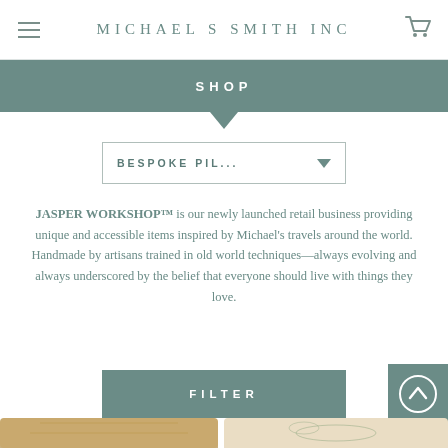Michael S Smith Inc
SHOP
[Figure (screenshot): Dropdown selector showing BESPOKE PIL... with caret]
JASPER WORKSHOP™ is our newly launched retail business providing unique and accessible items inspired by Michael's travels around the world. Handmade by artisans trained in old world techniques—always evolving and always underscored by the belief that everyone should live with things they love.
[Figure (screenshot): FILTER button in teal/slate color]
[Figure (photo): Two decorative throw pillows — left: tan geometric pattern pillow; right: cream floral chinoiserie pillow]